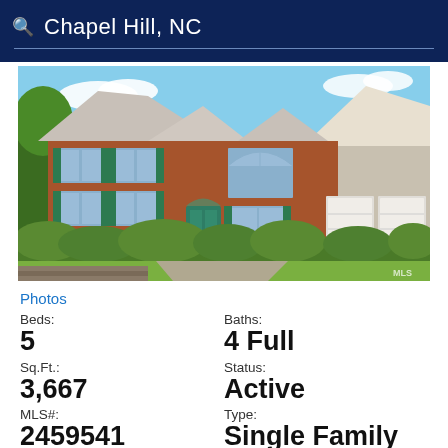Chapel Hill, NC
[Figure (photo): Two-story brick colonial house with teal shutters and door, two-car garage, surrounded by manicured hedges and green landscaping, blue sky background.]
Photos
Beds: 5
Baths: 4 Full
Sq.Ft.: 3,667
Status: Active
MLS#: 2459541
Type: Single Family